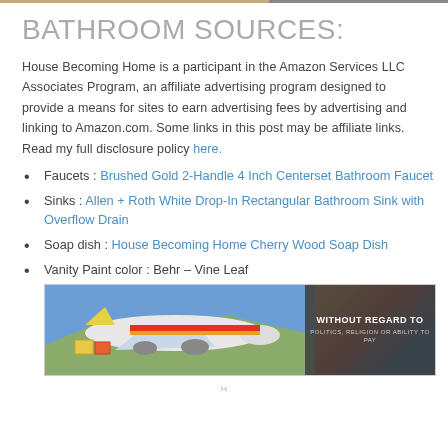BATHROOM SOURCES:
House Becoming Home is a participant in the Amazon Services LLC Associates Program, an affiliate advertising program designed to provide a means for sites to earn advertising fees by advertising and linking to Amazon.com. Some links in this post may be affiliate links. Read my full disclosure policy here.
Faucets : Brushed Gold 2-Handle 4 Inch Centerset Bathroom Faucet
Sinks : Allen + Roth White Drop-In Rectangular Bathroom Sink with Overflow Drain
Soap dish : House Becoming Home Cherry Wood Soap Dish
Vanity Paint color : Behr – Vine Leaf
[Figure (photo): Advertisement banner showing an airplane being loaded with cargo, with text overlay 'WITHOUT REGARD TO POLITICS, RELIGION OR ABILITY TO PAY']